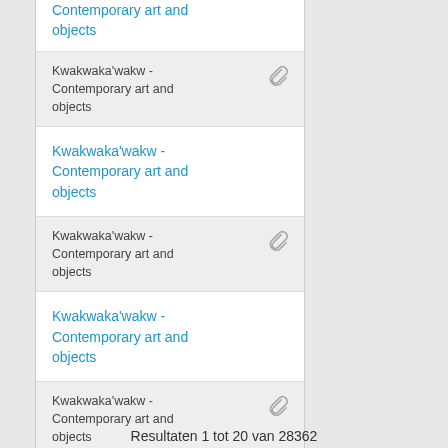Kwakwaka'wakw - Contemporary art and objects (link, partial at top)
Kwakwaka'wakw - Contemporary art and objects (metadata with clip)
Kwakwaka'wakw - Contemporary art and objects (link)
Kwakwaka'wakw - Contemporary art and objects (metadata with clip)
Kwakwaka'wakw - Contemporary art and objects (link)
Kwakwaka'wakw - Contemporary art and objects (metadata with clip)
Resultaten 1 tot 20 van 28362